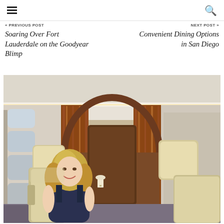≡  [menu icon]    [search icon]
« PREVIOUS POST
NEXT POST »
Soaring Over Fort Lauderdale on the Goodyear Blimp
Convenient Dining Options in San Diego
[Figure (photo): Interior of a private jet with cream leather seats. A blonde woman in a dark sleeveless top sits smiling in a seat on the left side. The cabin has wood paneling along the aisle, oval windows, and a narrow aisle leading to the rear of the aircraft.]